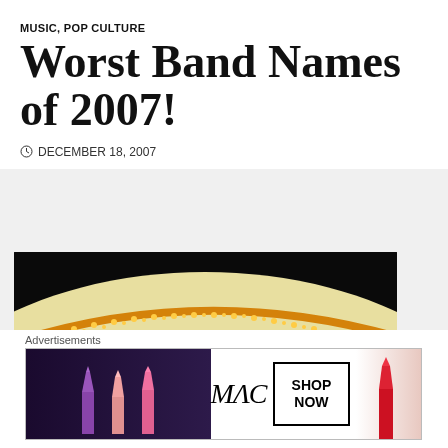MUSIC, POP CULTURE
Worst Band Names of 2007!
DECEMBER 18, 2007
[Figure (photo): Theater marquee sign at night showing text: TONIGHT: GAY WITCH ABORTION / HUBBLE FUNK / [more text cut off]. The marquee is illuminated with yellow lights against a dark sky.]
Advertisements
[Figure (photo): MAC cosmetics advertisement banner showing lipsticks on the left, MAC logo in center, SHOP NOW box, and red lipstick on the right.]